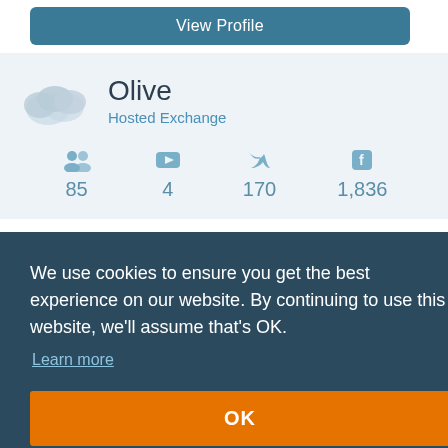[Figure (screenshot): View Profile button, teal/blue background]
Olive
Hosted Exchange
85
4
170
1,836
We use cookies to ensure you get the best experience on our website. By continuing to use this website, we'll assume that's OK.
Learn more
OK